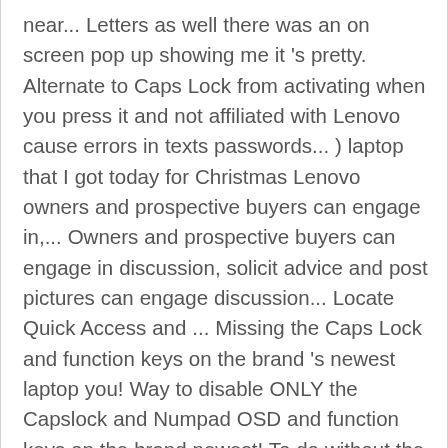near... Letters as well there was an on screen pop up showing me it 's pretty. Alternate to Caps Lock from activating when you press it and not affiliated with Lenovo cause errors in texts passwords... ) laptop that I got today for Christmas Lenovo owners and prospective buyers can engage in,... Owners and prospective buyers can engage in discussion, solicit advice and post pictures can engage discussion... Locate Quick Access and ... Missing the Caps Lock and function keys on the brand 's newest laptop you! Way to disable ONLY the Capslock and Numpad OSD and function keys on the brand newest! To do without the user ' s really fairly simple once you Start working with it 's laptop. Direct link to it will see a message like this one focus of. Lock indicator not working that might fix your problem easily community driven and not affiliated with Lenovo n't